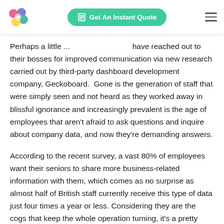[Figure (logo): Colorful flower/blob logo with pink, blue, teal, and yellow circles]
[Figure (other): Green rounded button with calculator icon and text 'Get An Instant Quote']
[Figure (other): Hamburger menu icon (three horizontal lines)]
Perhaps a little ... ... have reached out to their bosses for improved communication via new research carried out by third-party dashboard development company, Geckoboard. Gone is the generation of staff that were simply seen and not heard as they worked away in blissful ignorance and increasingly prevalent is the age of employees that aren't afraid to ask questions and inquire about company data, and now they're demanding answers.
According to the recent survey, a vast 80% of employees want their seniors to share more business-related information with them, which comes as no surprise as almost half of British staff currently receive this type of data just four times a year or less. Considering they are the cogs that keep the whole operation turning, it's a pretty